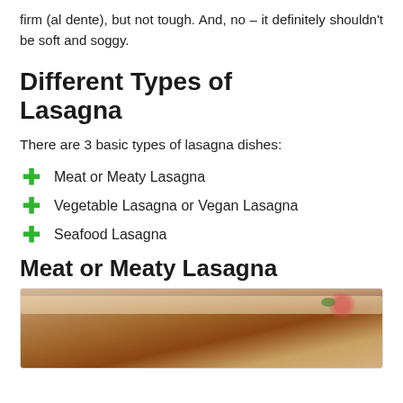firm (al dente), but not tough. And, no – it definitely shouldn't be soft and soggy.
Different Types of Lasagna
There are 3 basic types of lasagna dishes:
Meat or Meaty Lasagna
Vegetable Lasagna or Vegan Lasagna
Seafood Lasagna
Meat or Meaty Lasagna
[Figure (photo): Close-up photo of a slice of meat lasagna with melted cheese, tomato sauce, and green herb garnish on top.]